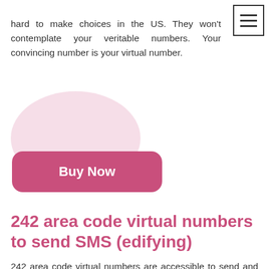hard to make choices in the US. They won't contemplate your veritable numbers. Your convincing number is your virtual number.
[Figure (illustration): Pink blob/circle decorative shape behind Buy Now button]
Buy Now
242 area code virtual numbers to send SMS (edifying)
242 area code virtual numbers are accessible to send and get SMS. To do this, you can download obliging applications. Sending dynamic SMS is free. It is